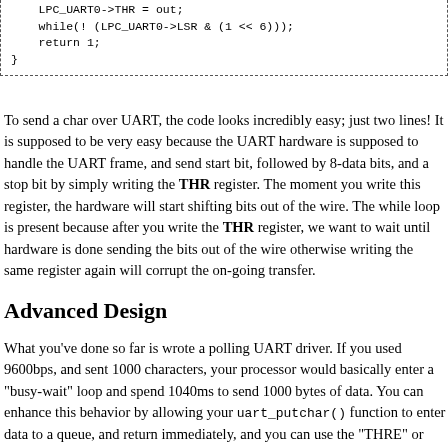LPC_UART0->THR = out;
    while(! (LPC_UART0->LSR & (1 << 6)));
    return 1;
}
To send a char over UART, the code looks incredibly easy; just two lines! It is supposed to be very easy because the UART hardware is supposed to handle the UART frame, and send start bit, followed by 8-data bits, and a stop bit by simply writing the THR register. The moment you write this register, the hardware will start shifting bits out of the wire. The while loop is present because after you write the THR register, we want to wait until hardware is done sending the bits out of the wire otherwise writing the same register again will corrupt the on-going transfer.
Advanced Design
What you've done so far is wrote a polling UART driver. If you used 9600bps, and sent 1000 characters, your processor would basically enter a "busy-wait" loop and spend 1040ms to send 1000 bytes of data. You can enhance this behavior by allowing your uart_putchar() function to enter data to a queue, and return immediately, and you can use the "THRE" or "Transmitter Holding